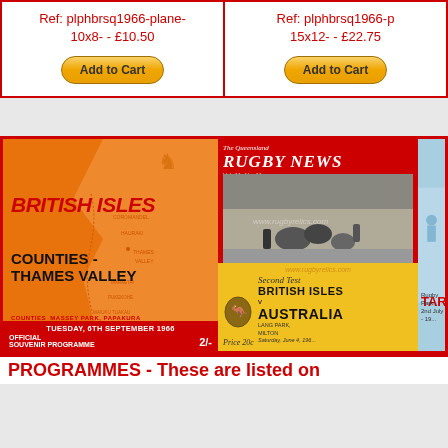Ref: plphbrsq1966-plane-10x8- - £10.50
Ref: plphbrsq1966-p 15x12- - £22.75
[Figure (screenshot): Add to Cart button (left product)]
[Figure (screenshot): Add to Cart button (right product)]
[Figure (photo): Three rugby programmes: British Isles v Counties-Thames Valley 1966 (orange cover with map), Queensland Rugby News Second Test British Isles v Australia (red/yellow cover with match photo), and a partially visible blue programme for Taranaki.]
PROGRAMMES  -  These are listed on